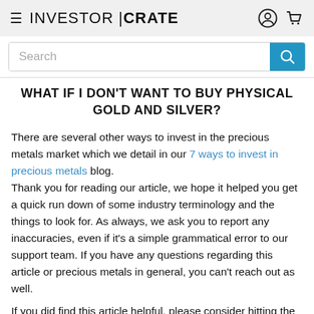INVESTOR | CRATE
WHAT IF I DON'T WANT TO BUY PHYSICAL GOLD AND SILVER?
There are several other ways to invest in the precious metals market which we detail in our 7 ways to invest in precious metals blog.
Thank you for reading our article, we hope it helped you get a quick run down of some industry terminology and the things to look for. As always, we ask you to report any inaccuracies, even if it's a simple grammatical error to our support team. If you have any questions regarding this article or precious metals in general, you can't reach out as well.
If you did find this article helpful, please consider hitting the